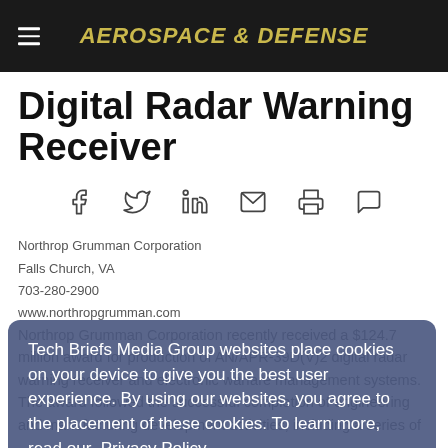AEROSPACE & DEFENSE
Digital Radar Warning Receiver
[Figure (infographic): Social sharing icons row: Facebook, Twitter, LinkedIn, Email, Print, Comment]
Northrop Grumman Corporation
Falls Church, VA
703-280-2900
www.northropgrumman.com
Northrop Grumman Corporation recently received a $124.7 million award for production of AN/APR-39D(V)2 digital radar warning receiver and electronic warfare management systems. The award followed the successful completion of engineering and manufacturing development activities, including a series of
Tech Briefs Media Group websites place cookies on your device to give you the best user experience. By using our websites, you agree to the placement of these cookies. To learn more, read our Privacy Policy.
Accept & Continue